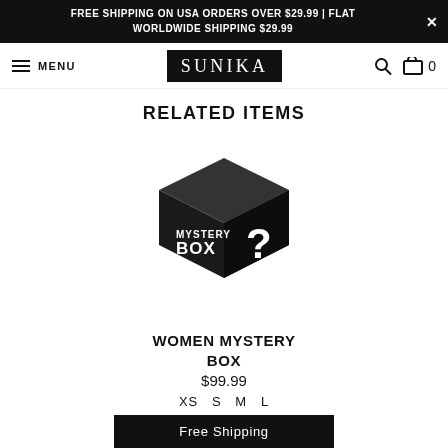FREE SHIPPING ON USA ORDERS OVER $29.99 | FLAT WORLDWIDE SHIPPING $29.99
MENU | SUNIKA | Search | Cart 0
RELATED ITEMS
[Figure (illustration): A black 3D mystery box with white text 'MYSTERY BOX' and a large white question mark on the front face.]
WOMEN MYSTERY BOX
$99.99
XS  S  M  L
Free Shipping